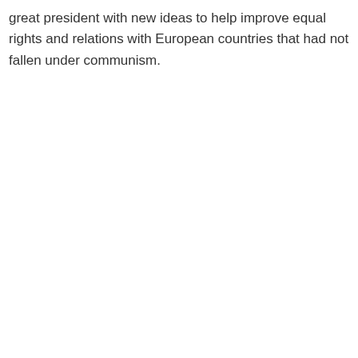great president with new ideas to help improve equal rights and relations with European countries that had not fallen under communism.